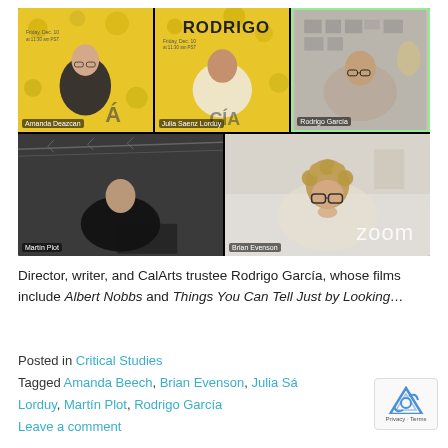[Figure (screenshot): Zoom video call screenshot showing 5 participants: Amanda Deazcan (top-left, yellow floral background), Julia Saenz Lorduy (top-center, yellow floral Rodrigo Garcia background), Rodrigo Garcia (top-right, highlighted with green border, home office background), Martin Plot (bottom-left, barbed wire background), Brian Evenson (bottom-right, bright room). Zoom logo visible bottom-right.]
Director, writer, and CalArts trustee Rodrigo García, whose films include Albert Nobbs and Things You Can Tell Just by Looking...
Posted in Critical Studies
Tagged Amanda Beech, Brian Evenson, Julia Sá... Lorduy, Martín Plot, Rodrigo García
Leave a comment